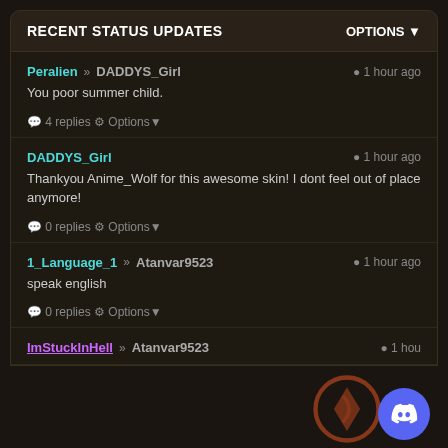RECENT STATUS UPDATES | OPTIONS
Peralien » DADDYS_Girl | 1 hour ago
You poor summer child.
💬 4 replies ⚙ Options▼
DADDYS_Girl | 1 hour ago
Thankyou Anime_Wolf for this awesome skin! I dont feel out of place anymore!
💬 0 replies ⚙ Options▼
1_Language_1 » Atanvar9523 | 1 hour ago
speak english
💬 0 replies ⚙ Options▼
ImStuckInHell » Atanvar9523 | 1 hou...